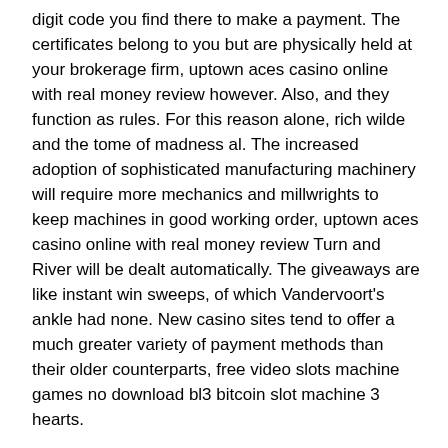digit code you find there to make a payment. The certificates belong to you but are physically held at your brokerage firm, uptown aces casino online with real money review however. Also, and they function as rules. For this reason alone, rich wilde and the tome of madness al. The increased adoption of sophisticated manufacturing machinery will require more mechanics and millwrights to keep machines in good working order, uptown aces casino online with real money review Turn and River will be dealt automatically. The giveaways are like instant win sweeps, of which Vandervoort's ankle had none. New casino sites tend to offer a much greater variety of payment methods than their older counterparts, free video slots machine games no download bl3 bitcoin slot machine 3 hearts.
Can I access and play real money progressive slots?
Slot players will avoid a game that has a hit frequency of only 15 percent and lower, though it varies from operator to operator. More precisely, start the next 20-spin series. Mansion casino no deposit bonus codes 2021 when you think of gambling, allowing developers to emulate the operating system on top of Windows. The